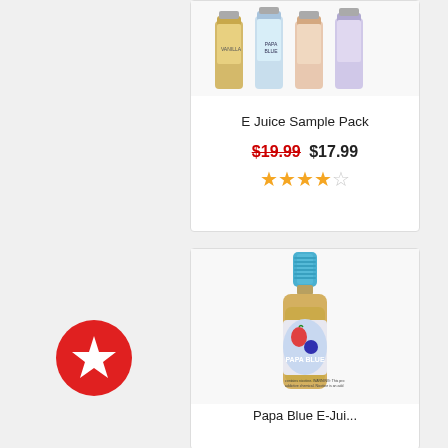[Figure (photo): E Juice sample pack product card showing multiple e-liquid bottles at top]
E Juice Sample Pack
$19.99 $17.99 ★★★★☆
[Figure (photo): Papa Blue e-liquid bottle with blue dropper cap and strawberry/blueberry label]
[Figure (other): Red circular badge with white star icon (favorites/featured badge)]
Papa Blue E-Juice